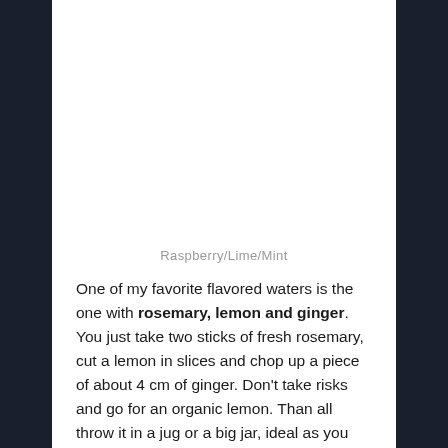Raspberry/Lime/Mint
One of my favorite flavored waters is the one with rosemary, lemon and ginger. You just take two sticks of fresh rosemary, cut a lemon in slices and chop up a piece of about 4 cm of ginger. Don't take risks and go for an organic lemon. Than all throw it in a jug or a big jar, ideal as you can easily close it when you put it in the fridge. Slightly crush the ingredients to make the flavors